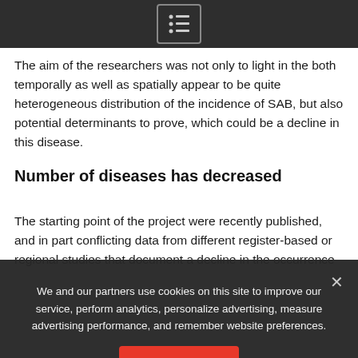[Figure (other): Dark top navigation bar with a list/menu icon inside a bordered box, centered on a dark gray background.]
The aim of the researchers was not only to light in the both temporally as well as spatially appear to be quite heterogeneous distribution of the incidence of SAB, but also potential determinants to prove, which could be a decline in this disease.
Number of diseases has decreased
The starting point of the project were recently published, and in part conflicting data from different register-based or regional studies that document a decline in the occurrence
We and our partners use cookies on this site to improve our service, perform analytics, personalize advertising, measure advertising performance, and remember website preferences.